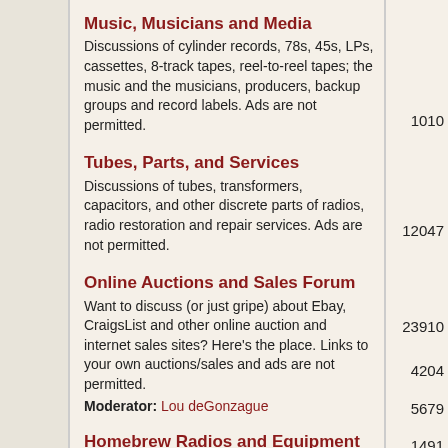Music, Musicians and Media
Discussions of cylinder records, 78s, 45s, LPs, cassettes, 8-track tapes, reel-to-reel tapes; the music and the musicians, producers, backup groups and record labels. Ads are not permitted.
1010
Tubes, Parts, and Services
Discussions of tubes, transformers, capacitors, and other discrete parts of radios, radio restoration and repair services. Ads are not permitted.
12047
Online Auctions and Sales Forum
Want to discuss (or just gripe) about Ebay, CraigsList and other online auction and internet sales sites? Here's the place. Links to your own auctions/sales and ads are not permitted.
Moderator: Lou deGonzague
23910
Homebrew Radios and Equipment
Ads are not permitted.
4204
Vintage Audio Equipment
Discussions of vintage tube and transistor audio equipment. Ads are not premitted.
5679
Hints & Kinks
Back in the '20s and '30s radio magazines ran tips from readers. Here's the Forum version; post your ideas and radio fixes here to share with the rest of
1491